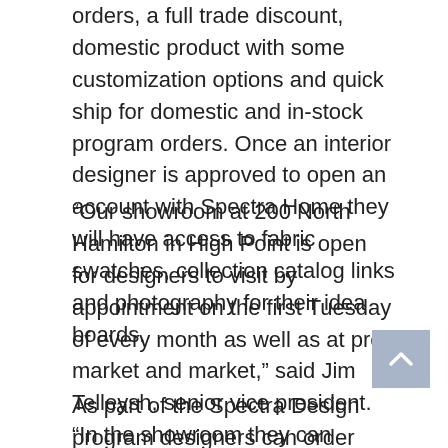orders, a full trade discount, domestic product with some customization options and quick ship for domestic and in-stock program orders. Once an interior designer is approved to open an account with Spectra Home they will have access to fabric swatches, collection catalog links and photography for their idea boards.
“Our showroom at 200 North Hamilton in High Point is open for designers to visit by appointment on the first Tuesday of every month as well as at pre-market and market,” said Jim Telleysh, senior vice president. “In the showroom they can experience many of the frames first hand and compare swatches. Orders can be placed through their area sales reps or by contacting our customer service.”
As part of the Spectra Design program designers can order Christina @ HOME, Christina Anstead’s new